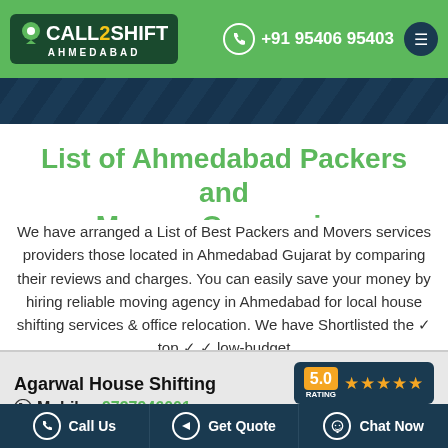[Figure (screenshot): Call2Shift Ahmedabad website header with green background, logo, phone number +91 95406 95403, and hamburger menu]
[Figure (illustration): Dark blue diagonal stripe decorative banner]
List of Ahmedabad Packers and Movers Companies
We have arranged a List of Best Packers and Movers services providers those located in Ahmedabad Gujarat by comparing their reviews and charges. You can easily save your money by hiring reliable moving agency in Ahmedabad for local house shifting services & office relocation. We have Shortlisted the ✓ top ✓ ✓ low-budget ✓ ✓ ✓ trusted Movers Service providers in Ahmedabad
[Figure (infographic): Agarwal House Shifting business card showing company name, Mobile - 9737946001, www.agarwalhouseshifting.com, 5.0 star rating, and View Profile button]
Call Us | Get Quote | Chat Now